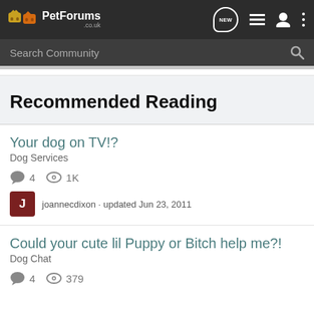PetForums.co.uk
Recommended Reading
Your dog on TV!?
Dog Services
4 replies · 1K views
joannecdixon · updated Jun 23, 2011
Could your cute lil Puppy or Bitch help me?!
Dog Chat